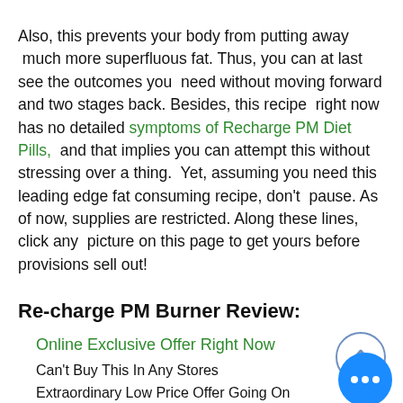Also, this prevents your body from putting away much more superfluous fat. Thus, you can at last see the outcomes you need without moving forward and two stages back. Besides, this recipe right now has no detailed symptoms of Recharge PM Diet Pills, and that implies you can attempt this without stressing over a thing. Yet, assuming you need this leading edge fat consuming recipe, don't pause. As of now, supplies are restricted. Along these lines, click any picture on this page to get yours before provisions sell out!
Re-charge PM Burner Review:
Online Exclusive Offer Right Now
Can't Buy This In Any Stores
Extraordinary Low Price Offer Going On
Each Bottle Is Just $69 If You Act N...
100 percent Natural Fat Burning Supplement